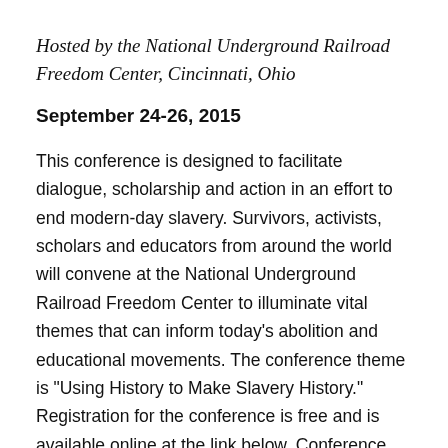Hosted by the National Underground Railroad Freedom Center, Cincinnati, Ohio
September 24-26, 2015
This conference is designed to facilitate dialogue, scholarship and action in an effort to end modern-day slavery. Survivors, activists, scholars and educators from around the world will convene at the National Underground Railroad Freedom Center to illuminate vital themes that can inform today’s abolition and educational movements. The conference theme is “Using History to Make Slavery History.” Registration for the conference is free and is available online at the link below. Conference attendees are responsible for transportation, lodging and meals. There is an optional